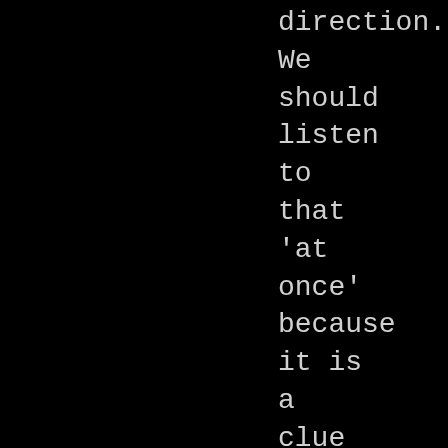direction. We should listen to that 'at once' because it is a clue to there being a static time, a